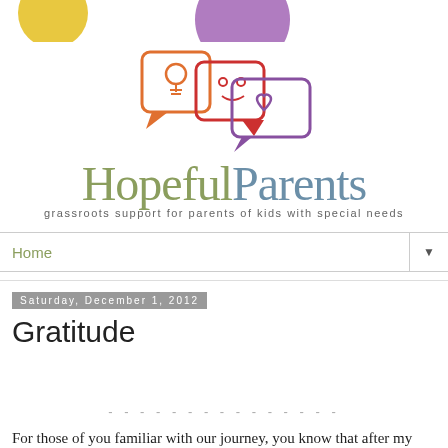[Figure (logo): Hopeful Parents website logo with chat bubble icons, tagline: grassroots support for parents of kids with special needs]
Home ▼
Saturday, December 1, 2012
Gratitude
For those of you familiar with our journey, you know that after my child's transplant I thought we were home-free. Although I didn't